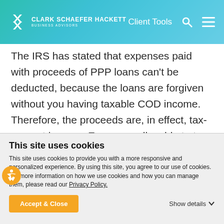Clark Schaefer Hackett Business Advisors | Client Tools
The IRS has stated that expenses paid with proceeds of PPP loans can't be deducted, because the loans are forgiven without you having taxable COD income. Therefore, the proceeds are, in effect, tax-exempt income. Expenses allocable to tax-exempt income are nondeductible, because deducting the expenses would result in a double tax benefit.
This site uses cookies
This site uses cookies to provide you with a more responsive and personalized experience. By using this site, you agree to our use of cookies. For more information on how we use cookies and how you can manage them, please read our Privacy Policy.
Accept & Close | Show details